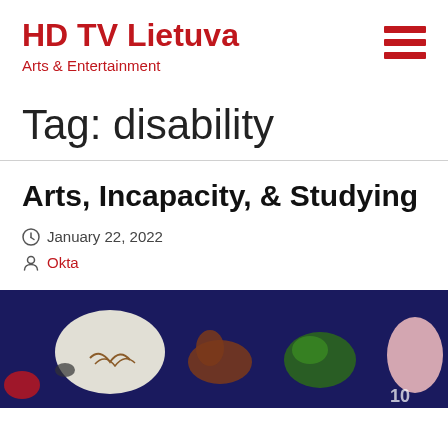HD TV Lietuva
Arts & Entertainment
Tag: disability
Arts, Incapacity, & Studying
January 22, 2022
Okta
[Figure (photo): Colorful illustration cutouts of animals and creatures on a dark navy background, including a white bird, a brown dinosaur, green foliage, and a pink creature.]